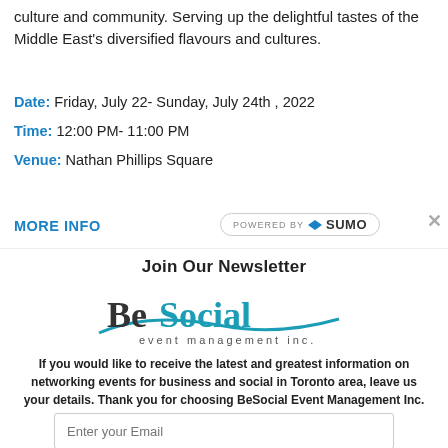culture and community. Serving up the delightful tastes of the Middle East's diversified flavours and cultures.
Date: Friday, July 22- Sunday, July 24th , 2022
Time: 12:00 PM- 11:00 PM
Venue: Nathan Phillips Square
MORE INFO
[Figure (logo): Powered by SUMO badge with rounded border]
×
Join Our Newsletter
[Figure (logo): BeSocial event management inc. logo with teal swoosh]
If you would like to receive the latest and greatest information on networking events for business and social in Toronto area, leave us your details. Thank you for choosing BeSocial Event Management Inc.
Enter your Email
Subscribe Now